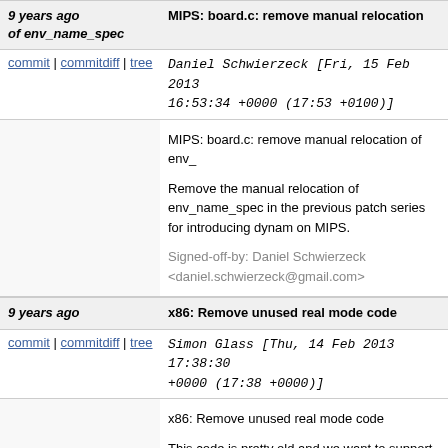9 years ago of env_name_spec | MIPS: board.c: remove manual relocation
commit | commitdiff | tree   Daniel Schwierzeck [Fri, 15 Feb 2013 16:53:34 +0000 (17:53 +0100)]
MIPS: board.c: remove manual relocation of env_

Remove the manual relocation of env_name_spec in the previous patch series for introducing dynam on MIPS.

Signed-off-by: Daniel Schwierzeck <daniel.schwierzeck@gmail.com>
9 years ago | x86: Remove unused real mode code
commit | commitdiff | tree   Simon Glass [Thu, 14 Feb 2013 17:38:30 +0000 (17:38 +0000)]
x86: Remove unused real mode code

This code is pretty old and we want to support only bit systems now.

Signed-off-by: Simon Glass <sjg@chromium.org>
Acked-by: Graeme Russ <graeme.russ@gmail.com>